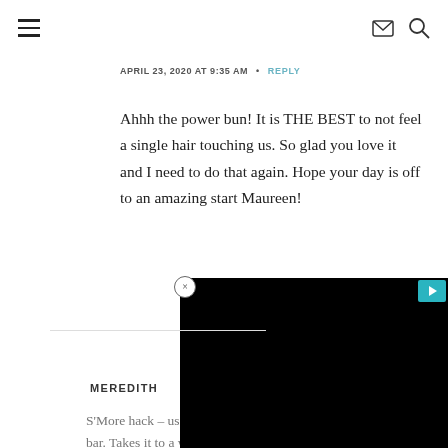≡  ✉ 🔍
APRIL 23, 2020 AT 9:35 AM  •  REPLY
Ahhh the power bun! It is THE BEST to not feel a single hair touching us. So glad you love it and I need to do that again. Hope your day is off to an amazing start Maureen!
[Figure (other): Black video advertisement overlay with teal play button and close button]
MEREDITH
S'More hack – use a Reese's PB cup instead of a Hershey's bar. Takes it to a whole new level! And you